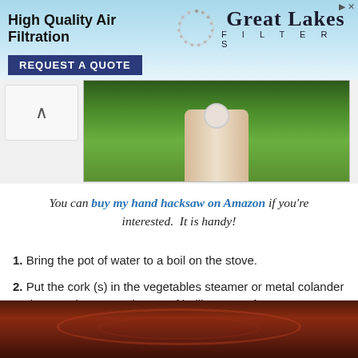[Figure (other): Advertisement banner for Great Lakes Filters – High Quality Air Filtration, with REQUEST A QUOTE button]
[Figure (photo): Close-up photo of a mushroom stem in green grass with a small white ball near the base]
You can buy my hand hacksaw on Amazon if you're interested.  It is handy!
1. Bring the pot of water to a boil on the stove.
2. Put the cork (s) in the vegetables steamer or metal colander and steam them over the pot of boiling water for 10 to 15 minutes.
[Figure (photo): Close-up photo of the inside of a dark metal pot or colander]